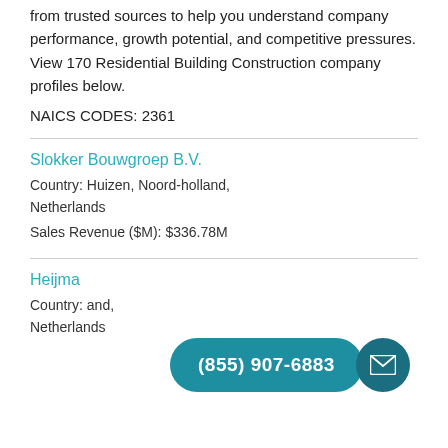from trusted sources to help you understand company performance, growth potential, and competitive pressures. View 170 Residential Building Construction company profiles below.
NAICS CODES: 2361
Slokker Bouwgroep B.V.
Country: Huizen, Noord-holland, Netherlands
Sales Revenue ($M): $336.78M
Heijma...
Country: ...and, Netherlands